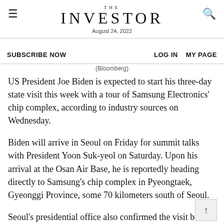THE INVESTOR
August 24, 2022
SUBSCRIBE NOW    LOG IN    MY PAGE
(Bloomberg)
US President Joe Biden is expected to start his three-day state visit this week with a tour of Samsung Electronics' chip complex, according to industry sources on Wednesday.
Biden will arrive in Seoul on Friday for summit talks with President Yoon Suk-yeol on Saturday. Upon his arrival at the Osan Air Base, he is reportedly heading directly to Samsung's chip complex in Pyeongtaek, Gyeonggi Province, some 70 kilometers south of Seoul.
Seoul's presidential office also confirmed the visit but called it “a tentative schedule.”